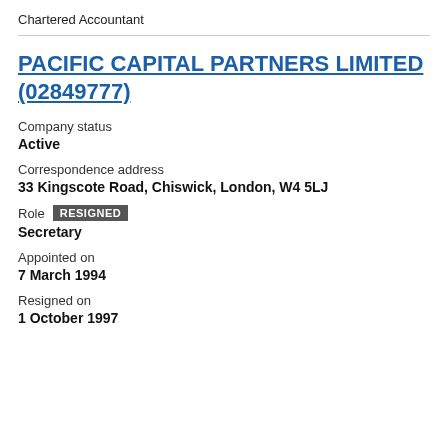Chartered Accountant
PACIFIC CAPITAL PARTNERS LIMITED (02849777)
Company status
Active
Correspondence address
33 Kingscote Road, Chiswick, London, W4 5LJ
Role RESIGNED
Secretary
Appointed on
7 March 1994
Resigned on
1 October 1997